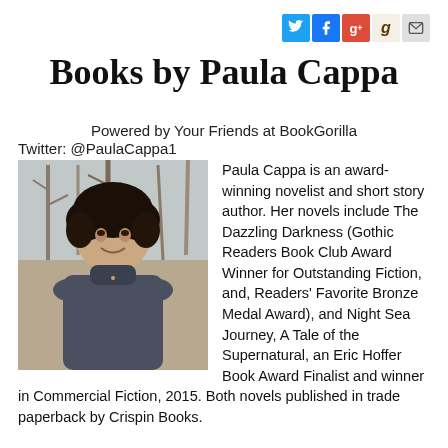[Figure (infographic): Row of social media icon buttons: Twitter (blue bird), Facebook (blue f), Google+ (red g+), Goodreads (tan g), Email (envelope)]
Books by Paula Cappa
Powered by Your Friends at BookGorilla
Twitter: @PaulaCappa1
[Figure (photo): Black and white photo of Paula Cappa, a woman with dark curly hair, smiling, wearing a turtleneck sweater, outdoors with bare trees in background]
Paula Cappa is an award-winning novelist and short story author. Her novels include The Dazzling Darkness (Gothic Readers Book Club Award Winner for Outstanding Fiction, and, Readers' Favorite Bronze Medal Award), and Night Sea Journey, A Tale of the Supernatural, an Eric Hoffer Book Award Finalist and winner in Commercial Fiction, 2015. Both novels published in trade paperback by Crispin Books.